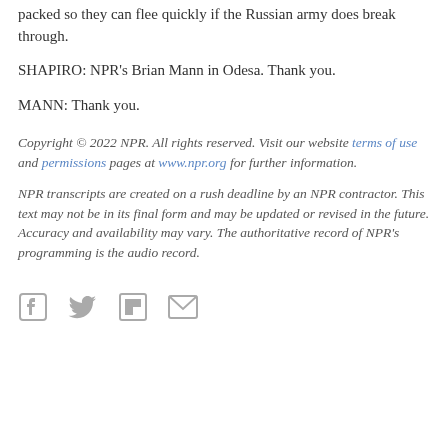packed so they can flee quickly if the Russian army does break through.
SHAPIRO: NPR's Brian Mann in Odesa. Thank you.
MANN: Thank you.
Copyright © 2022 NPR. All rights reserved. Visit our website terms of use and permissions pages at www.npr.org for further information.
NPR transcripts are created on a rush deadline by an NPR contractor. This text may not be in its final form and may be updated or revised in the future. Accuracy and availability may vary. The authoritative record of NPR's programming is the audio record.
[Figure (other): Social media sharing icons: Facebook, Twitter, Flipboard, Email]